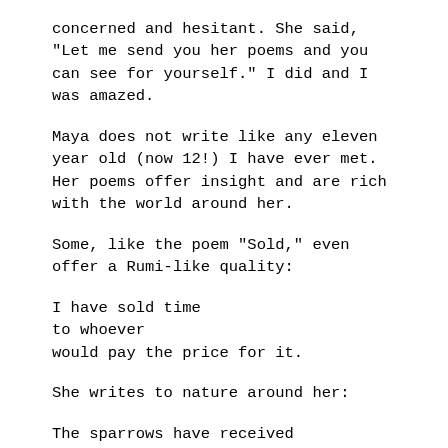concerned and hesitant. She said, "Let me send you her poems and you can see for yourself." I did and I was amazed.
Maya does not write like any eleven year old (now 12!) I have ever met. Her poems offer insight and are rich with the world around her.
Some, like the poem "Sold," even offer a Rumi-like quality:
I have sold time
to whoever
would pay the price for it.
She writes to nature around her:
The sparrows have received